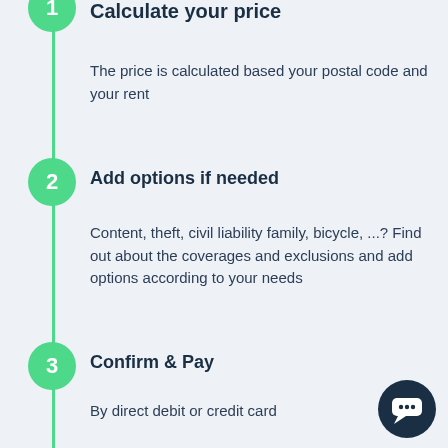Calculate your price
The price is calculated based your postal code and your rent
Add options if needed
Content, theft, civil liability family, bicycle, ...? Find out about the coverages and exclusions and add options according to your needs
Confirm & Pay
By direct debit or credit card